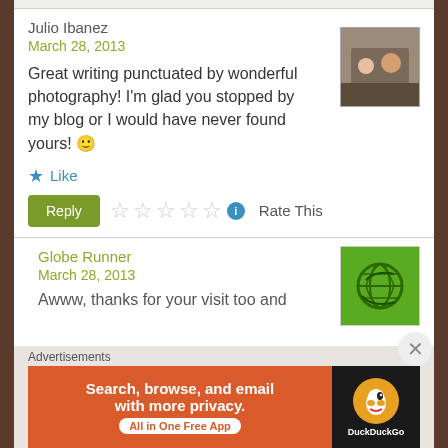Julio Ibanez
March 28, 2013
Great writing punctuated by wonderful photography! I'm glad you stopped by my blog or I would have never found yours! 🙂
Like
Reply  ☆☆☆☆☆ ℹ Rate This
Globe Runner
March 28, 2013
Awww, thanks for your visit too and
Advertisements
[Figure (screenshot): DuckDuckGo ad banner: Search, browse, and email with more privacy. All in One Free App]